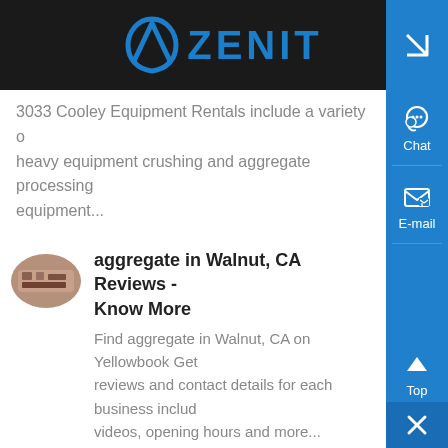[Figure (logo): Zenit logo on dark background header bar with blue arch icon and bold blue ZENIT text]
3033 Cooley Equipment Rentals include a variety of heavy equipment crushing and aggregate processing equipment...
[Figure (photo): Oval thumbnail image of aggregate/machinery equipment]
aggregate in Walnut, CA Reviews - Know More
Find aggregate in Walnut, CA on Yellowbook Get reviews and contact details for each business including videos, opening hours and more...
[Figure (photo): Oval thumbnail image of asphalt/pipe materials]
All American Asphalt Paving Material and Construction - Know More
All American Asphalt s construction division works both public and private sectors throughout Southern